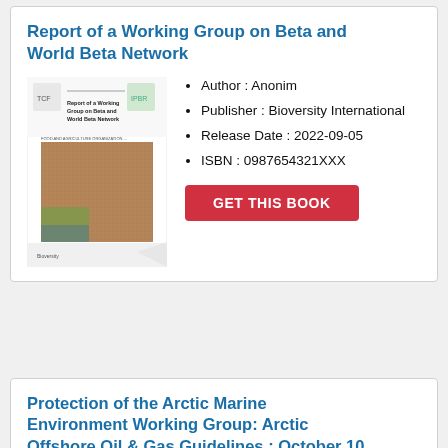Report of a Working Group on Beta and World Beta Network
[Figure (illustration): Book cover thumbnail for 'Report of a Working Group on Beta and World Beta Network' showing logos and a brown textured background image.]
Author : Anonim
Publisher : Bioversity International
Release Date : 2022-09-05
ISBN : 0987654321XXX
Protection of the Arctic Marine Environment Working Group: Arctic Offshore Oil & Gas Guidelines : October 10